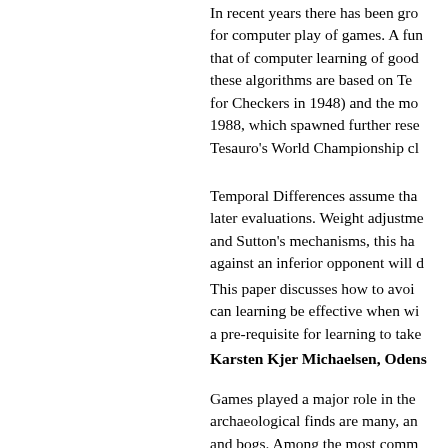In recent years there has been gro for computer play of games. A fun that of computer learning of good these algorithms are based on Te for Checkers in 1948) and the mo 1988, which spawned further rese Tesauro's World Championship cl
Temporal Differences assume tha later evaluations. Weight adjustme and Sutton's mechanisms, this ha against an inferior opponent will d
This paper discusses how to avoi can learning be effective when wi a pre-requisite for learning to take
Karsten Kjer Michaelsen, Odens
Games played a major role in the archaeological finds are many, an and bogs. Among the most comm